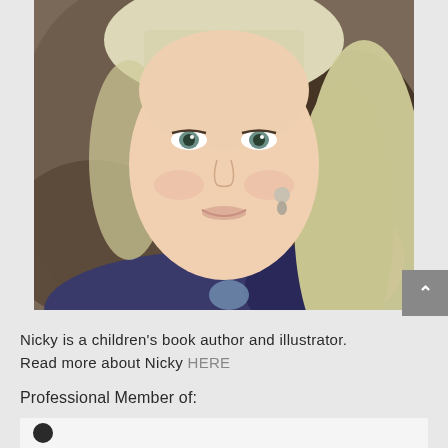[Figure (photo): Portrait photo of a woman with blonde hair and bangs, blue/green eyes, wearing a navy and pink patterned top and drop earrings, smiling at camera with a blurred background.]
Nicky is a children's book author and illustrator. Read more about Nicky HERE
Professional Member of:
[Figure (logo): Partial view of a professional membership organization logo at the bottom of the page.]